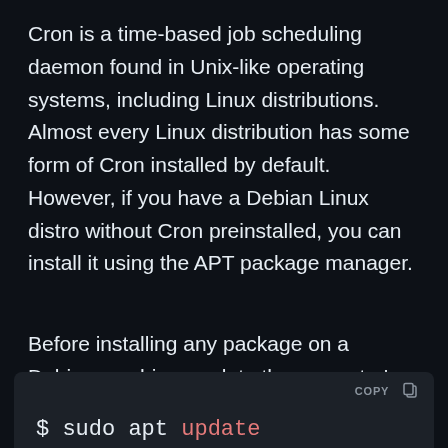Cron is a time-based job scheduling daemon found in Unix-like operating systems, including Linux distributions. Almost every Linux distribution has some form of Cron installed by default. However, if you have a Debian Linux distro without Cron preinstalled, you can install it using the APT package manager.
Before installing any package on a Debian machine, update the computer's local package database:
[Figure (screenshot): Dark-themed code block showing the command: $ sudo apt update, with 'update' highlighted in red/pink. A COPY button appears in the top-right corner of the block.]